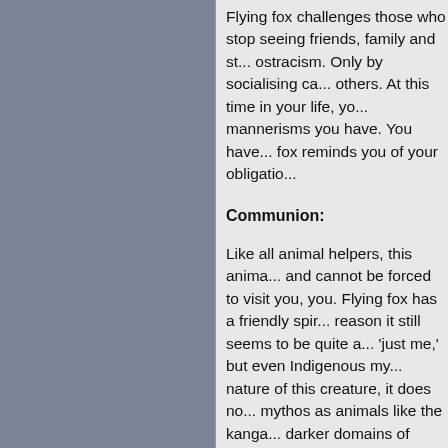Flying fox challenges those who stop seeing friends, family and st... ostracism. Only by socialising ca... others. At this time in your life, yo... mannerisms you have. You have... fox reminds you of your obligatio...
Communion:
Like all animal helpers, this anima... and cannot be forced to visit you,... you. Flying fox has a friendly spir... reason it still seems to be quite a... 'just me,' but even Indigenous my... nature of this creature, it does no... mythos as animals like the kanga... darker domains of secrets and in... flying fox is a custodian of myster... those who are a part of mystery t...
Flying fox may respond to offerin... signs that flying fox is reaching o... in unusual places, or acting in un... wise spirit alone. It is still possible...